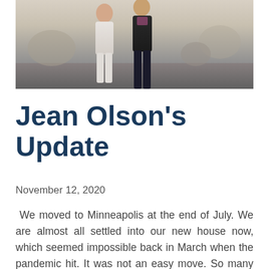[Figure (photo): Photograph of two people standing outdoors, one in white/light clothing on the left, one in dark clothing on the right, with a blurred background.]
Jean Olson's Update
November 12, 2020
We moved to Minneapolis at the end of July. We are almost all settled into our new house now, which seemed impossible back in March when the pandemic hit. It was not an easy move. So many nights both Dave and I struggled to fall asleep because of the weight of all the things we needed to do… Mostly, moving Sam in his last year of high school